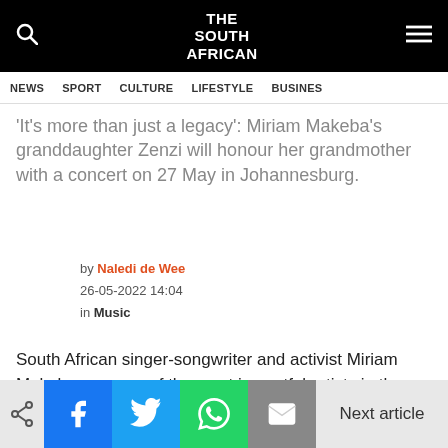THE SOUTH AFRICAN
NEWS  SPORT  CULTURE  LIFESTYLE  BUSINESS
'It's more than just a legacy': Miriam Makeba's granddaughter Zenzi will honour her grandmother with a concert on 27 May in Johannesburg.
by Naledi de Wee
26-05-2022 14:04
in Music
South African singer-songwriter and activist Miriam Makeba was one of the most impactful artists in the world. The talented singer, who would have celebrated her 90th birthday on March 4th, was one of the…